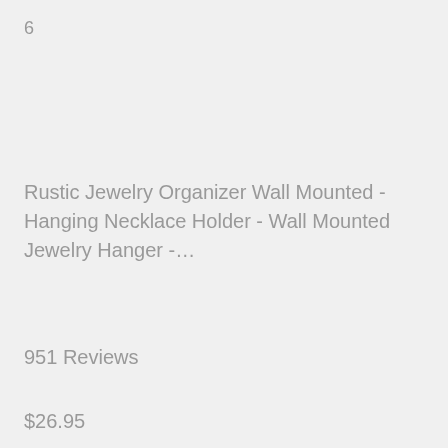6
Rustic Jewelry Organizer Wall Mounted - Hanging Necklace Holder - Wall Mounted Jewelry Hanger -…
951 Reviews
$26.95